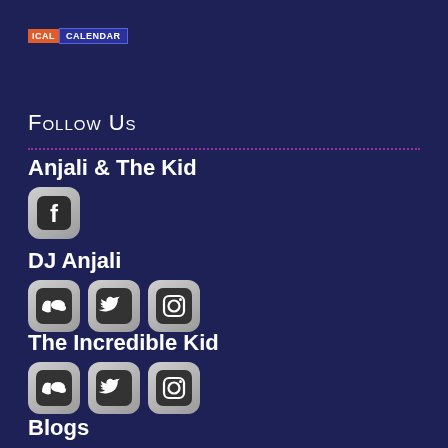[Figure (logo): ICAL CALENDAR logo with orange ICAL badge and blue CALENDAR badge]
Follow Us
Anjali & The Kid
[Figure (illustration): Facebook social media icon (rounded square with f logo)]
DJ Anjali
[Figure (illustration): SoundCloud, Twitter, and Instagram social media icons]
The Incredible Kid
[Figure (illustration): SoundCloud, Twitter, and Instagram social media icons]
Blogs
Gita Sings The Blues
The Incredible Blog